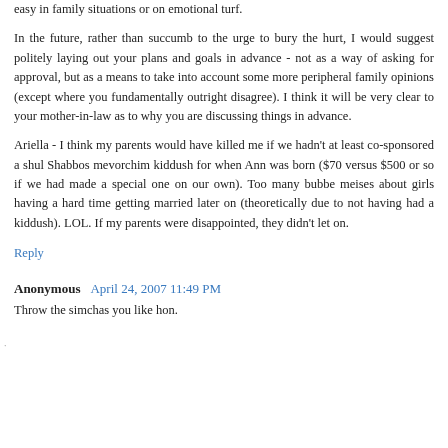easy in family situations or on emotional turf.
In the future, rather than succumb to the urge to bury the hurt, I would suggest politely laying out your plans and goals in advance - not as a way of asking for approval, but as a means to take into account some more peripheral family opinions (except where you fundamentally outright disagree). I think it will be very clear to your mother-in-law as to why you are discussing things in advance.
Ariella - I think my parents would have killed me if we hadn't at least co-sponsored a shul Shabbos mevorchim kiddush for when Ann was born ($70 versus $500 or so if we had made a special one on our own). Too many bubbe meises about girls having a hard time getting married later on (theoretically due to not having had a kiddush). LOL. If my parents were disappointed, they didn't let on.
Reply
Anonymous April 24, 2007 11:49 PM
Throw the simchas you like hon.